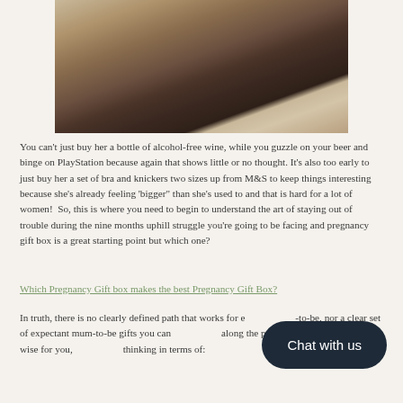[Figure (photo): A woman in a white lace dress sitting on the floor, photographed from above in a moody, dark-toned style.]
You can't just buy her a bottle of alcohol-free wine, while you guzzle on your beer and binge on PlayStation because again that shows little or no thought. It's also too early to just buy her a set of bra and knickers two sizes up from M&S to keep things interesting because she's already feeling 'bigger" than she's used to and that is hard for a lot of women!  So, this is where you need to begin to understand the art of staying out of trouble during the nine months uphill struggle you're going to be facing and pregnancy gift box is a great starting point but which one?
Which Pregnancy Gift box makes the best Pregnancy Gift Box?
In truth, there is no clearly defined path that works for e…-to-be, nor a clear set of expectant mum-to-be gifts you can… along the pregnancy road, it would be wise for you,… thinking in terms of: